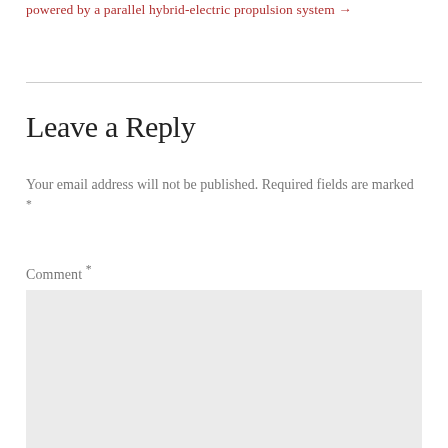powered by a parallel hybrid-electric propulsion system →
Leave a Reply
Your email address will not be published. Required fields are marked *
Comment *